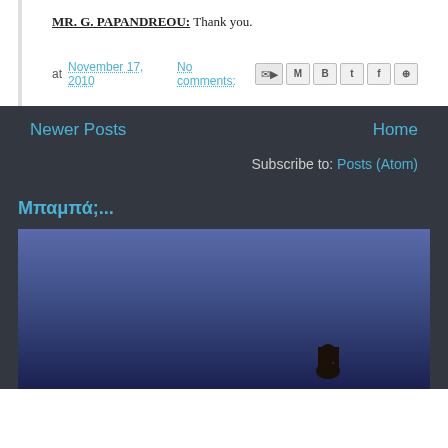MR. G. PAPANDREOU: Thank you.
at November 17, 2010   No comments:
Newer Posts
Home
Subscribe to: Posts (Atom)
Μπαμπά;...
[Figure (photo): A dark silhouette photograph against a blue/purple twilight sky background]